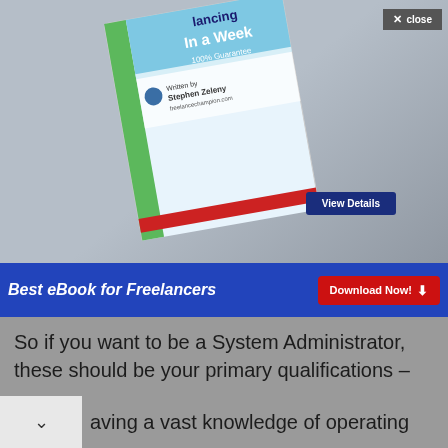[Figure (screenshot): Ad banner showing a book titled 'Freelancing In a Week' with a 'View Details' button and a 'Best eBook for Freelancers' banner with 'Download Now!' button. Below is an article section with text about System Administrator qualifications. At the bottom is another ad for 'View Your Postal Mail Online' by Traveling Mailbox with an 'Open' button.]
So if you want to be a System Administrator, these should be your primary qualifications –
aving a vast knowledge of operating
View Your Postal Mail Online
Traveling Mailbox